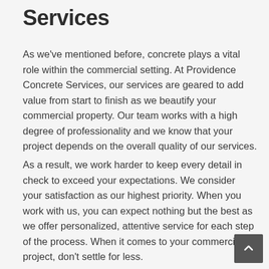Services
As we’ve mentioned before, concrete plays a vital role within the commercial setting. At Providence Concrete Services, our services are geared to add value from start to finish as we beautify your commercial property. Our team works with a high degree of professionality and we know that your project depends on the overall quality of our services.
As a result, we work harder to keep every detail in check to exceed your expectations. We consider your satisfaction as our highest priority. When you work with us, you can expect nothing but the best as we offer personalized, attentive service for each step of the process. When it comes to your commercial project, don’t settle for less.